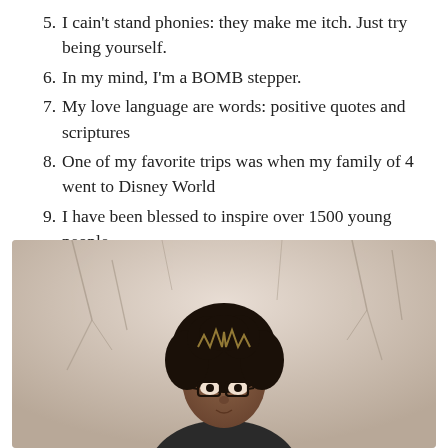5. I cain't stand phonies: they make me itch. Just try being yourself.
6. In my mind, I'm a BOMB stepper.
7. My love language are words: positive quotes and scriptures
8. One of my favorite trips was when my family of 4 went to Disney World
9. I have been blessed to inspire over 1500 young people
10. I am proof that because God chose me, it doesn't matter how I got here: I'm here to fulfill purpose.
[Figure (photo): A woman with curly hair and glasses standing outdoors in front of bare winter trees, photographed from approximately chest up, soft natural light background.]